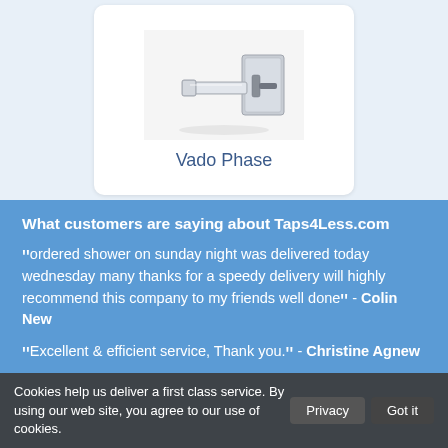[Figure (photo): Product image of a chrome wall-mounted bath tap/faucet - Vado Phase]
Vado Phase
What customers are saying about Taps4Less.com
“ordered shower on sunday night was delivered today wednesday many thanks for a speedy delivery will highly recommend this company to my friends well done” - Colin New
“Excellent & efficient service, Thank you.” - Christine Agnew
Cookies help us deliver a first class service. By using our web site, you agree to our use of cookies.